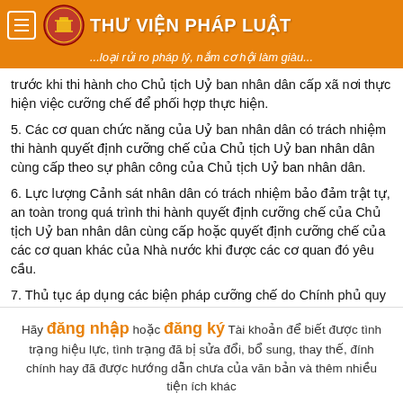THƯ VIỆN PHÁP LUẬT — ...loại rủi ro pháp lý, nắm cơ hội làm giàu...
trước khi thi hành cho Chủ tịch Uỷ ban nhân dân cấp xã nơi thực hiện việc cưỡng chế để phối hợp thực hiện.
5. Các cơ quan chức năng của Uỷ ban nhân dân có trách nhiệm thi hành quyết định cưỡng chế của Chủ tịch Uỷ ban nhân dân cùng cấp theo sự phân công của Chủ tịch Uỷ ban nhân dân.
6. Lực lượng Cảnh sát nhân dân có trách nhiệm bảo đảm trật tự, an toàn trong quá trình thi hành quyết định cưỡng chế của Chủ tịch Uỷ ban nhân dân cùng cấp hoặc quyết định cưỡng chế của các cơ quan khác của Nhà nước khi được các cơ quan đó yêu cầu.
7. Thủ tục áp dụng các biện pháp cưỡng chế do Chính phủ quy định.
Điều 67. Thẩm quyền ra quyết định cưỡng chế
Hãy đăng nhập hoặc đăng ký Tài khoản để biết được tình trạng hiệu lực, tình trạng đã bị sửa đổi, bổ sung, thay thế, đính chính hay đã được hướng dẫn chưa của văn bản và thêm nhiều tiện ích khác